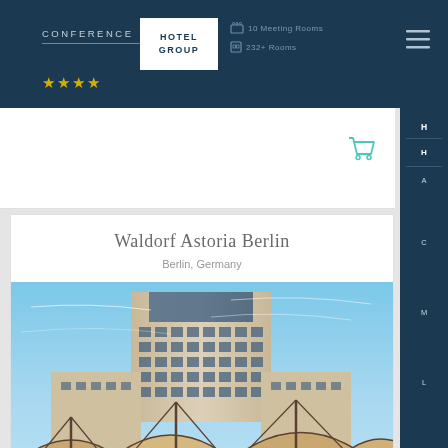CONFERENCE HOTEL GROUP
[Figure (photo): Waldorf Astoria Berlin hotel exterior photo showing tall modern building with grid of windows and large outdoor umbrella canopies in foreground against blue sky]
Waldorf Astoria Berlin
Berlin, Germany